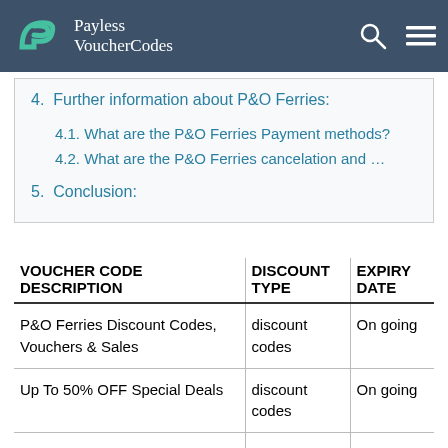Payless VoucherCodes
4. Further information about P&O Ferries:
4.1. What are the P&O Ferries Payment methods?
4.2. What are the P&O Ferries cancelation and …
5. Conclusion:
| VOUCHER CODE DESCRIPTION | DISCOUNT TYPE | EXPIRY DATE |
| --- | --- | --- |
| P&O Ferries Discount Codes, Vouchers & Sales | discount codes | On going |
| Up To 50% OFF Special Deals | discount codes | On going |
| Up To 50% OFF Dover To Calais Deals | discount codes | On going |
| Up To 50% OFF Hull To | discount codes | On going |